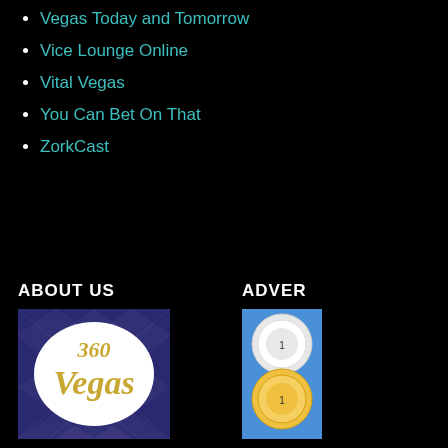Vegas Today and Tomorrow
Vice Lounge Online
Vital Vegas
You Can Bet On That
ZorkCast
ABOUT US
[Figure (logo): 360 Vegas logo on argyle background]
ADVER
[Figure (photo): Casino chips photo, partially visible]